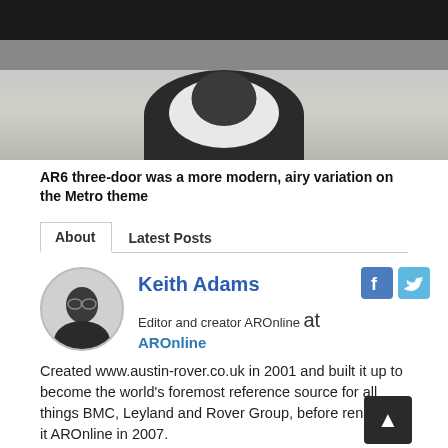[Figure (photo): Bottom portion of a dark car showing a white-rimmed tire/wheel on a grey concrete surface]
AR6 three-door was a more modern, airy variation on the Metro theme
About   Latest Posts
Keith Adams
Editor and creator AROnline at AROnline
Created www.austin-rover.co.uk in 2001 and built it up to become the world's foremost reference source for all things BMC, Leyland and Rover Group, before renaming it AROnline in 2007.
Is the Editor of the Parkers website and price guide, formerly editor of Classic Car
[Figure (photo): Black and white circular portrait photo of Keith Adams wearing glasses and a black shirt]
[Figure (illustration): Facebook icon button (blue square with f)]
[Figure (illustration): Twitter icon button (light blue square with bird)]